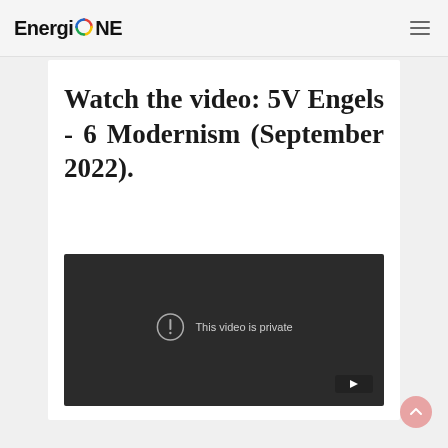EnergiONE
Watch the video: 5V Engels - 6 Modernism (September 2022).
[Figure (screenshot): Embedded YouTube video player showing 'This video is private' message on dark background with YouTube logo badge in bottom right corner.]